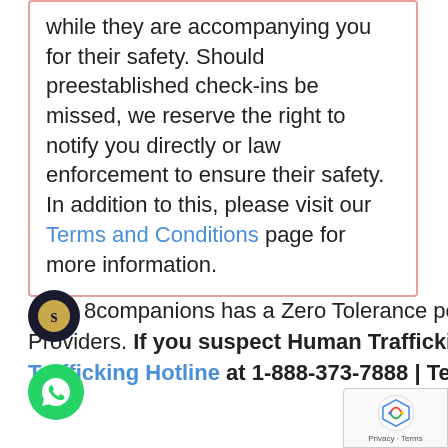while they are accompanying you for their safety. Should preestablished check-ins be missed, we reserve the right to notify you directly or law enforcement to ensure their safety. In addition to this, please visit our Terms and Conditions page for more information.
8Companions has a Zero Tolerance policy toward Human Trafficking and Underage Providers. If you suspect Human Trafficking, immediately notify the Human Trafficking Hotline at 1-888-373-7888 | Text: 233733